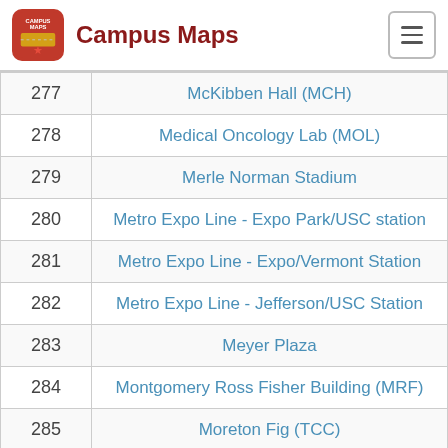Campus Maps
| # | Name |
| --- | --- |
| 277 | McKibben Hall (MCH) |
| 278 | Medical Oncology Lab (MOL) |
| 279 | Merle Norman Stadium |
| 280 | Metro Expo Line - Expo Park/USC station |
| 281 | Metro Expo Line - Expo/Vermont Station |
| 282 | Metro Expo Line - Jefferson/USC Station |
| 283 | Meyer Plaza |
| 284 | Montgomery Ross Fisher Building (MRF) |
| 285 | Moreton Fig (TCC) |
| 286 | Moulton Organic Chemistry Wing (OCW) |
| 287 | Moving Image Archive (NCT) |